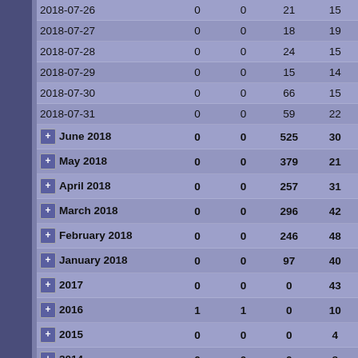| Date | Col1 | Col2 | Col3 | Col4 |
| --- | --- | --- | --- | --- |
| 2018-07-26 | 0 | 0 | 21 | 15 |
| 2018-07-27 | 0 | 0 | 18 | 19 |
| 2018-07-28 | 0 | 0 | 24 | 15 |
| 2018-07-29 | 0 | 0 | 15 | 14 |
| 2018-07-30 | 0 | 0 | 66 | 15 |
| 2018-07-31 | 0 | 0 | 59 | 22 |
| June 2018 | 0 | 0 | 525 | 30 |
| May 2018 | 0 | 0 | 379 | 21 |
| April 2018 | 0 | 0 | 257 | 31 |
| March 2018 | 0 | 0 | 296 | 42 |
| February 2018 | 0 | 0 | 246 | 48 |
| January 2018 | 0 | 0 | 97 | 40 |
| 2017 | 0 | 0 | 0 | 43 |
| 2016 | 1 | 1 | 0 | 10 |
| 2015 | 0 | 0 | 0 | 4 |
| 2014 | 0 | 0 | 0 | 8 |
| 2013 | 2 | 3 | 0 | 3 |